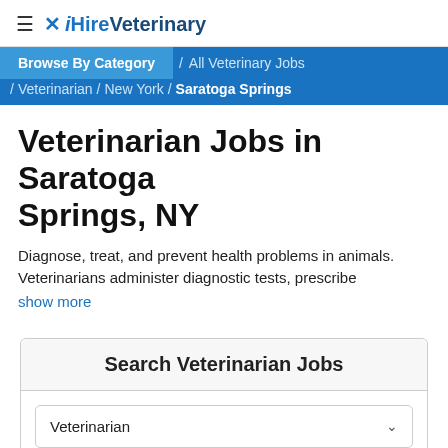≡ iHireVeterinary
Browse By Category / All Veterinary Jobs / Veterinarian / New York / Saratoga Springs
Veterinarian Jobs in Saratoga Springs, NY
Diagnose, treat, and prevent health problems in animals. Veterinarians administer diagnostic tests, prescribe
show more
Search Veterinarian Jobs
Veterinarian
Saratoga Springs, NY